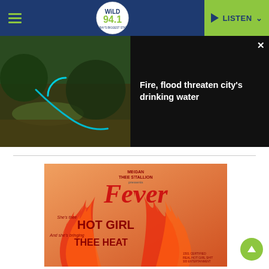WILD 94.1 — THE BAY'S BIGGEST STATION | LISTEN
[Figure (screenshot): News overlay card showing a mountain/forest river photo on left, and headline 'Fire, flood threaten city's drinking water' on black background on right, with X close button]
Fire, flood threaten city's drinking water
[Figure (photo): Megan Thee Stallion 'Fever' mixtape cover art showing artist in leopard-print outfit surrounded by flames with text: MEGAN THEE STALLION presents FEVER — She's thee HOT GIRL And she's bringing THEE HEAT]